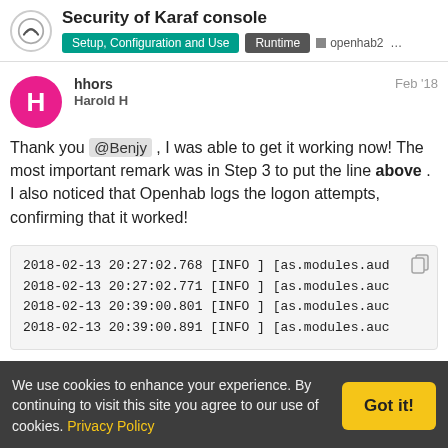Security of Karaf console | Setup, Configuration and Use | Runtime | openhab2 ...
hhors Harold H Feb '18
Thank you @Benjy , I was able to get it working now! The most important remark was in Step 3 to put the line above . I also noticed that Openhab logs the logon attempts, confirming that it worked!
2018-02-13 20:27:02.768 [INFO ] [as.modules.aud
2018-02-13 20:27:02.771 [INFO ] [as.modules.auc
2018-02-13 20:39:00.801 [INFO ] [as.modules.auc
2018-02-13 20:39:00.891 [INFO ] [as.modules.auc
We use cookies to enhance your experience. By continuing to visit this site you agree to our use of cookies. Privacy Policy | Got it!